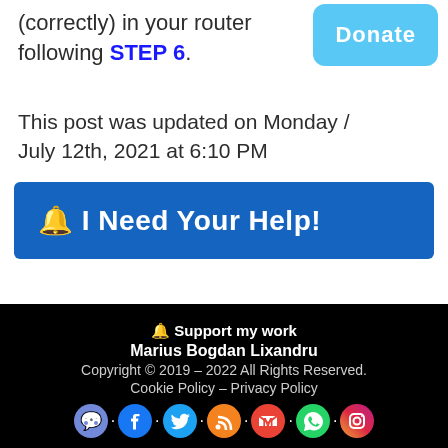(correctly) in your router following STEP 6.
DONATE
This post was updated on Monday / July 12th, 2021 at 6:10 PM
🔔 I Need Your Help!
🔔 Support my work
Marius Bogdan Lixandru
Copyright © 2019 – 2022 All Rights Reserved.
Cookie Policy – Privacy Policy